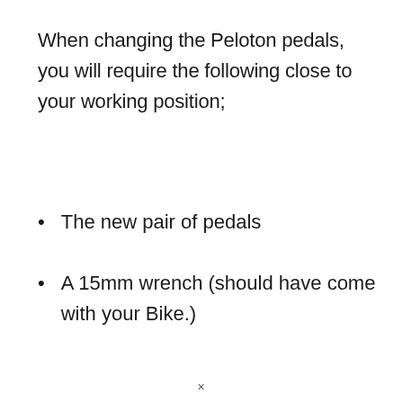When changing the Peloton pedals, you will require the following close to your working position;
The new pair of pedals
A 15mm wrench (should have come with your Bike.)
×